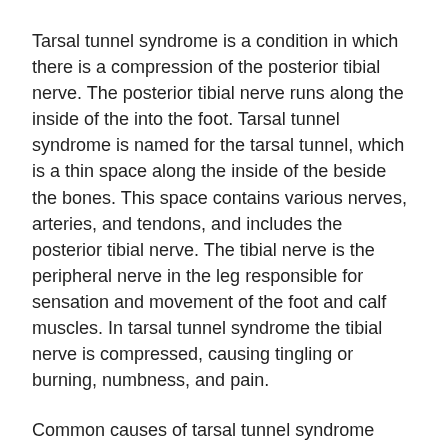Tarsal tunnel syndrome is a condition in which there is a compression of the posterior tibial nerve. The posterior tibial nerve runs along the inside of the into the foot. Tarsal tunnel syndrome is named for the tarsal tunnel, which is a thin space along the inside of the beside the bones. This space contains various nerves, arteries, and tendons, and includes the posterior tibial nerve. The tibial nerve is the peripheral nerve in the leg responsible for sensation and movement of the foot and calf muscles. In tarsal tunnel syndrome the tibial nerve is compressed, causing tingling or burning, numbness, and pain.
Common causes of tarsal tunnel syndrome involve pressure or an injury. Injuries that produce inflammation and swelling in or around the tunnel may place pressure on the posterior tibial nerve. Direct pressure on the tibial nerve for an extended period of time, sometimes caused by other body structures close by or trauma to the tibial nerve, can result in tarsal tunnel syndrome. Diseases that damage nerves, such as diabetes or arthritis, may cause tarsal tunnel syndrome. Those with flat feet are at risk for